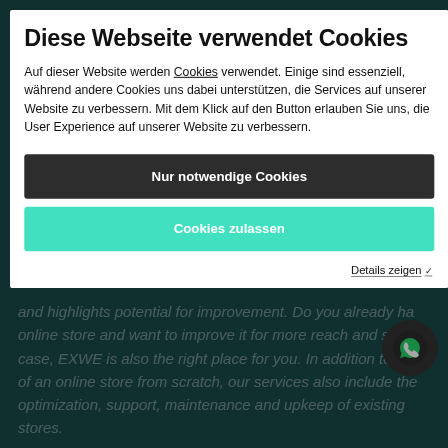[Figure (screenshot): Dark teal website background with partially visible English text about EXWE online store services and a WhatsApp floating button icon]
Diese Webseite verwendet Cookies
Auf dieser Website werden Cookies verwendet. Einige sind essenziell, während andere Cookies uns dabei unterstützen, die Services auf unserer Website zu verbessern. Mit dem Klick auf den Button erlauben Sie uns, die User Experience auf unserer Website zu verbessern.
Nur notwendige Cookies
Cookies zulassen
Details zeigen ✓